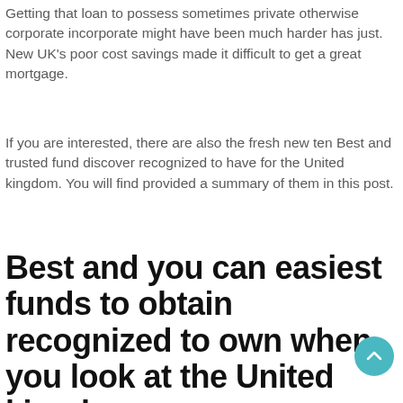Getting that loan to possess sometimes private otherwise corporate incorporate might have been much harder has just. New UK's poor cost savings made it difficult to get a great mortgage.
If you are interested, there are also the fresh new ten Best and trusted fund discover recognized to have for the United kingdom. You will find provided a summary of them in this post.
Best and you can easiest funds to obtain recognized to own when you look at the United kingdom
An informed and you will easiest fund you should buy accepted instantly was crisis mortgage. This is the particular financing that's designed to pay to have a